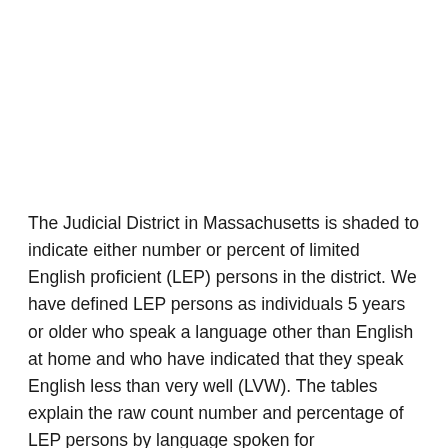The Judicial District in Massachusetts is shaded to indicate either number or percent of limited English proficient (LEP) persons in the district.  We have defined LEP persons as individuals 5 years or older who speak a language other than English at home and who have indicated that they speak English less than very well (LVW).  The tables explain the raw count number and percentage of LEP persons by language spoken for Massachusetts's Judicial District.